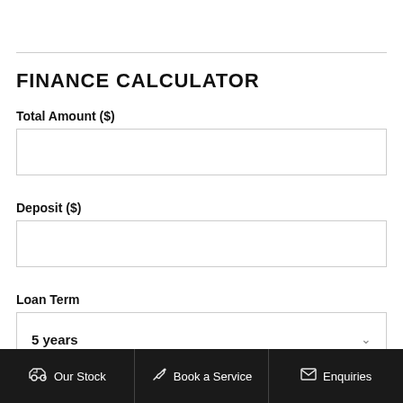FINANCE CALCULATOR
Total Amount ($)
Deposit ($)
Loan Term
5 years
Our Stock   Book a Service   Enquiries